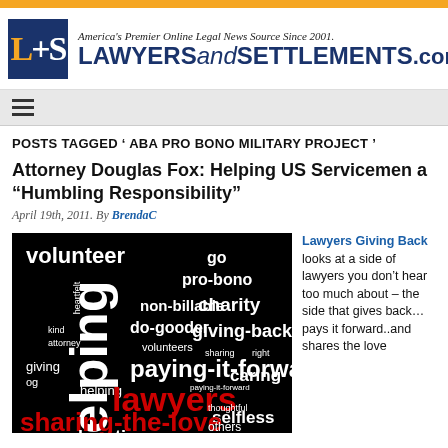[Figure (logo): LawyersandSettlements.com logo with orange top bar and L+S icon]
POSTS TAGGED ' ABA PRO BONO MILITARY PROJECT '
Attorney Douglas Fox: Helping US Servicemen a “Humbling Responsibility”
April 19th, 2011. By BrendaC
[Figure (illustration): Word cloud on black background with words: volunteer, go, pro-bono, heartfelt, helping, non-billable, charity, kind, do-gooder, giving-back, attorney, volunteers, sharing, right, giving, og, paying-it-forward, paying-it-forward, caring, helping, lawyers, thoughtful, selfless, sharing-the-love, others, donating]
Lawyers Giving Back looks at a side of lawyers you don’t hear too much about – the side that gives back… pays it forward..and shares the love